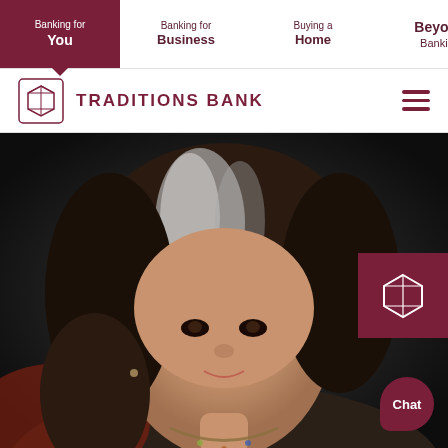Banking for You | Banking for Business | Buying a Home | Beyond Banking
TRADITIONS BANK
[Figure (photo): Portrait photo of a woman with gray-streaked dark hair, wearing a colorful necklace, smiling at the camera against a dark background. Traditions Bank logo overlay in top-right corner and Chat button in bottom-right corner.]